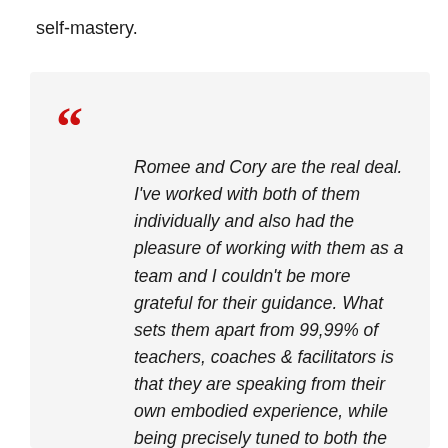self-mastery.
Romee and Cory are the real deal. I've worked with both of them individually and also had the pleasure of working with them as a team and I couldn't be more grateful for their guidance. What sets them apart from 99,99% of teachers, coaches & facilitators is that they are speaking from their own embodied experience, while being precisely tuned to both the individual and the group field they are working with. They set the bar